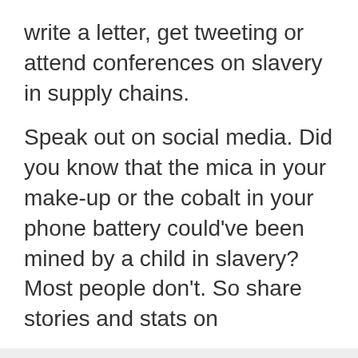write a letter, get tweeting or attend conferences on slavery in supply chains.
Speak out on social media. Did you know that the mica in your make-up or the cobalt in your phone battery could've been mined by a child in slavery? Most people don't. So share stories and stats on
We use cookies
We use cookies and other tracking technologies to improve your browsing experience on our website, to show you personalized content and targeted ads, to analyze our website traffic, and to understand where our visitors are coming from.